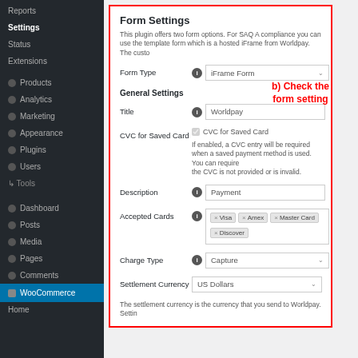[Figure (screenshot): WordPress admin sidebar with menu items: Reports, Settings (active/bold), Status, Extensions, Products, Analytics, Marketing, Appearance, Plugins, Users, Tools (partially visible), Dashboard, Posts, Media, Pages, Comments, WooCommerce (highlighted), Home]
Form Settings
This plugin offers two form options. For SAQ A compliance you can use the template form which is a hosted iFrame from Worldpay. The custo
Form Type
iFrame Form
General Settings
b) Check the form setting
Title
Worldpay
CVC for Saved Card
CVC for Saved Card
If enabled, a CVC entry will be required when a saved payment method is used. You can require the CVC is not provided or is invalid.
Description
Payment
Accepted Cards
× Visa  × Amex  × Master Card  × Discover
Charge Type
Capture
Settlement Currency
US Dollars
The settlement currency is the currency that you send to Worldpay. Settin